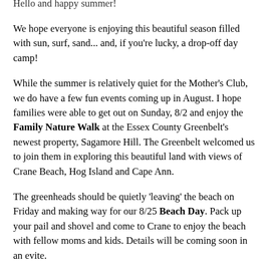Hello and happy summer!
We hope everyone is enjoying this beautiful season filled with sun, surf, sand... and, if you're lucky, a drop-off day camp!
While the summer is relatively quiet for the Mother's Club, we do have a few fun events coming up in August. I hope families were able to get out on Sunday, 8/2 and enjoy the Family Nature Walk at the Essex County Greenbelt's newest property, Sagamore Hill. The Greenbelt welcomed us to join them in exploring this beautiful land with views of Crane Beach, Hog Island and Cape Ann.
The greenheads should be quietly 'leaving' the beach on Friday and making way for our 8/25 Beach Day. Pack up your pail and shovel and come to Crane to enjoy the beach with fellow moms and kids. Details will be coming soon in an evite.
Keep an eye out for your invites to the annual Teddy Bear